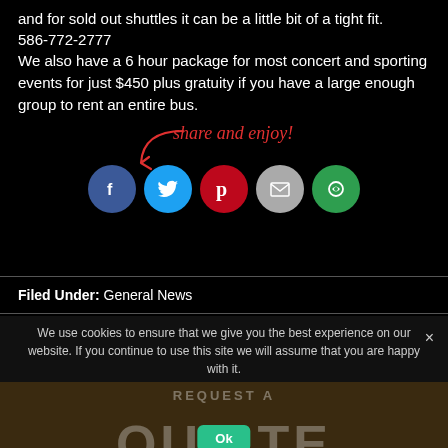and for sold out shuttles it can be a little bit of a tight fit. 586-772-2777
We also have a 6 hour package for most concert and sporting events for just $450 plus gratuity if you have a large enough group to rent an entire bus.
[Figure (infographic): Share and enjoy callout with arrow and social media icons: Facebook, Twitter, Pinterest, Email, Share (green)]
Filed Under: General News
We use cookies to ensure that we give you the best experience on our website. If you continue to use this site we will assume that you are happy with it.
[Figure (screenshot): REQUEST A QUOTE overlay with Ok button]